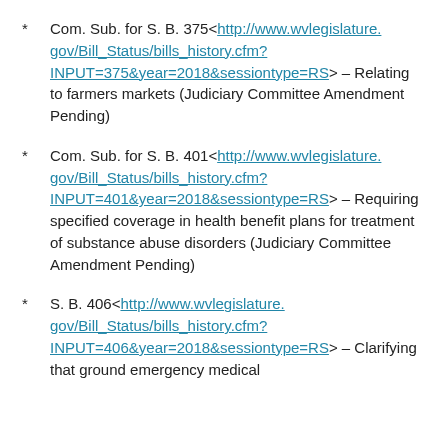* Com. Sub. for S. B. 375<http://www.wvlegislature.gov/Bill_Status/bills_history.cfm?INPUT=375&year=2018&sessiontype=RS> – Relating to farmers markets (Judiciary Committee Amendment Pending)
* Com. Sub. for S. B. 401<http://www.wvlegislature.gov/Bill_Status/bills_history.cfm?INPUT=401&year=2018&sessiontype=RS> – Requiring specified coverage in health benefit plans for treatment of substance abuse disorders (Judiciary Committee Amendment Pending)
* S. B. 406<http://www.wvlegislature.gov/Bill_Status/bills_history.cfm?INPUT=406&year=2018&sessiontype=RS> – Clarifying that ground emergency medical